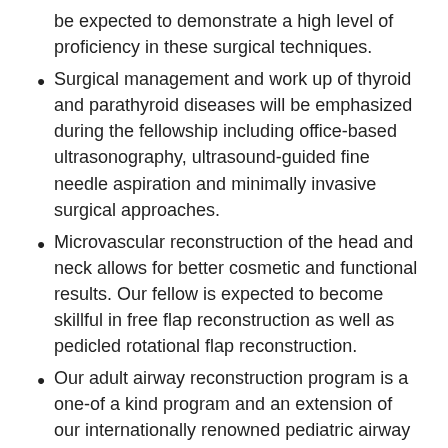be expected to demonstrate a high level of proficiency in these surgical techniques.
Surgical management and work up of thyroid and parathyroid diseases will be emphasized during the fellowship including office-based ultrasonography, ultrasound-guided fine needle aspiration and minimally invasive surgical approaches.
Microvascular reconstruction of the head and neck allows for better cosmetic and functional results. Our fellow is expected to become skillful in free flap reconstruction as well as pedicled rotational flap reconstruction.
Our adult airway reconstruction program is a one-of a kind program and an extension of our internationally renowned pediatric airway program. Our fellow should be